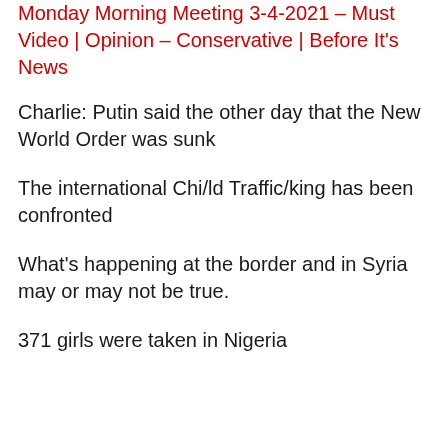Monday Morning Meeting 3-4-2021 – Must Video | Opinion – Conservative | Before It's News
Charlie: Putin said the other day that the New World Order was sunk
The international Chi/ld Traffic/king has been confronted
What's happening at the border and in Syria may or may not be true.
371 girls were taken in Nigeria